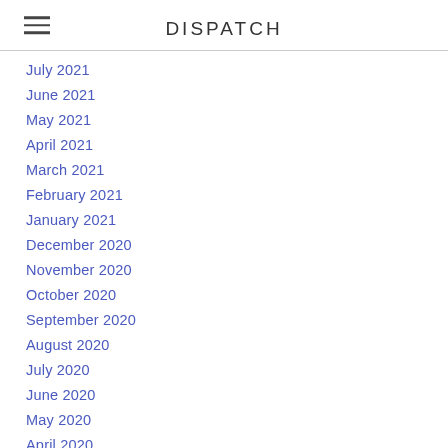DISPATCH
July 2021
June 2021
May 2021
April 2021
March 2021
February 2021
January 2021
December 2020
November 2020
October 2020
September 2020
August 2020
July 2020
June 2020
May 2020
April 2020
March 2020
February 2020